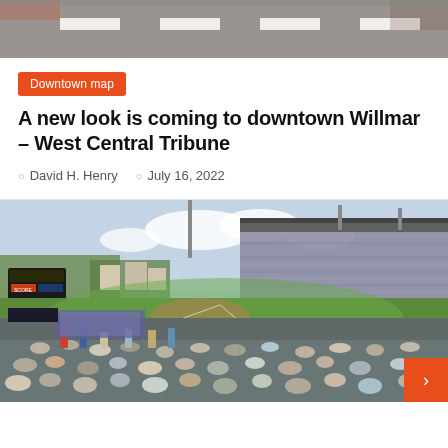[Figure (photo): Top portion of an article thumbnail image showing a street or road surface with white markings, partially cropped at top]
Downtown map
A new look is coming to downtown Willmar – West Central Tribune
David H. Henry   July 16, 2022
[Figure (photo): Vintage photograph of a packed baseball stadium, showing a crowded grandstand and outfield bleachers, green playing field, and a scoreboard in the background. Crowds of spectators are visible in the foreground, some standing.]